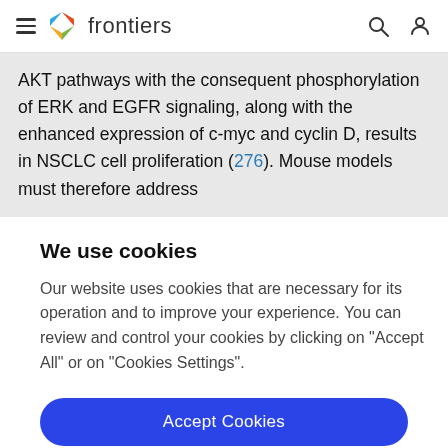frontiers
AKT pathways with the consequent phosphorylation of ERK and EGFR signaling, along with the enhanced expression of c-myc and cyclin D, results in NSCLC cell proliferation (276). Mouse models must therefore address
We use cookies
Our website uses cookies that are necessary for its operation and to improve your experience. You can review and control your cookies by clicking on "Accept All" or on "Cookies Settings".
Accept Cookies
Cookies Settings